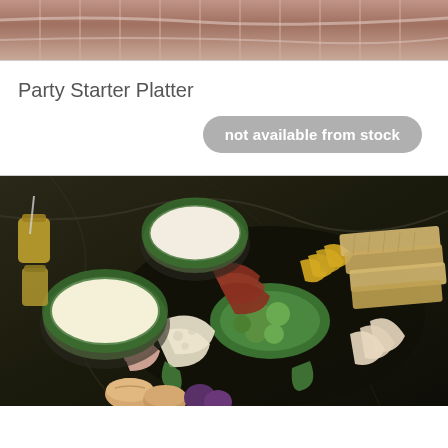[Figure (photo): Close-up photo of sliced deli meat (ham/roast beef) arranged in overlapping slices, shot from above on a dark background.]
Party Starter Platter
not available from stock
[Figure (photo): A Party Starter Platter displayed on a dark marble surface. The platter contains sliced deli meats (ham, turkey, roast beef), various cheeses, pickles/gherkins, lettuce garnish, crackers and sliced bread. Three glass bowls contain salads (chicken salad, egg salad, and another salad) garnished with curly parsley. Small jars of mustard/condiments are visible on the left. Rolls and figs are in the foreground.]